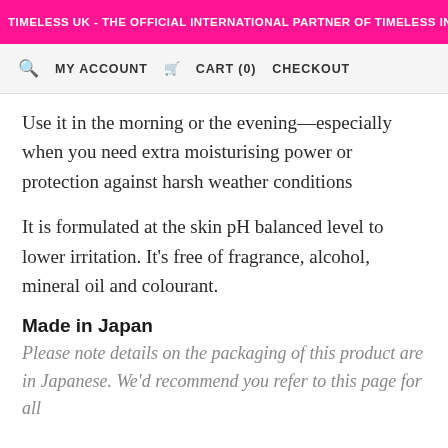TIMELESS UK - THE OFFICIAL INTERNATIONAL PARTNER OF TIMELESS IN THE
MY ACCOUNT   CART (0)   CHECKOUT
Use it in the morning or the evening—especially when you need extra moisturising power or protection against harsh weather conditions
It is formulated at the skin pH balanced level to lower irritation. It's free of fragrance, alcohol, mineral oil and colourant.
Made in Japan
Please note details on the packaging of this product are in Japanese. We'd recommend you refer to this page for all